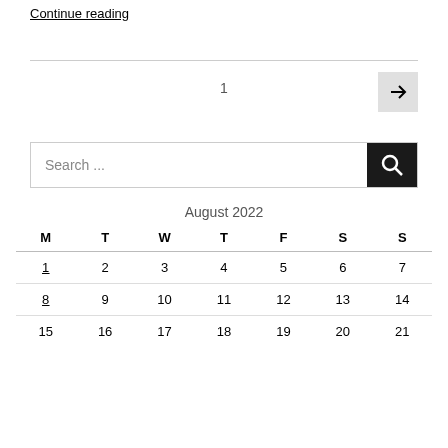Continue reading
1
[Figure (other): Pagination next button with right arrow]
Search ...
| M | T | W | T | F | S | S |
| --- | --- | --- | --- | --- | --- | --- |
| 1 | 2 | 3 | 4 | 5 | 6 | 7 |
| 8 | 9 | 10 | 11 | 12 | 13 | 14 |
| 15 | 16 | 17 | 18 | 19 | 20 | 21 |